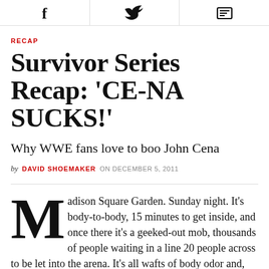[Figure (other): Social sharing icons bar: Facebook, Twitter, and email/print icon]
RECAP
Survivor Series Recap: 'CE-NA SUCKS!'
Why WWE fans love to boo John Cena
by DAVID SHOEMAKER ON DECEMBER 5, 2011
Madison Square Garden. Sunday night. It's body-to-body, 15 minutes to get inside, and once there it's a geeked-out mob, thousands of people waiting in a line 20 people across to be let into the arena. It's all wafts of body odor and, above the din, the soprano whine of little kids asking why the line's not moving. I'm wedged against a